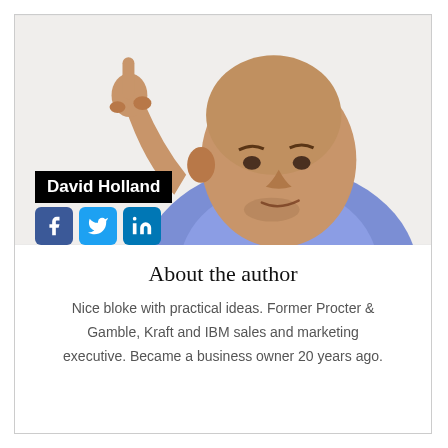[Figure (photo): Photo of David Holland, a bald middle-aged man in a blue checkered shirt pointing upward with one finger, with a thoughtful expression. Overlaid with his name 'David Holland' in a black bar and social media icons for Facebook, Twitter, and LinkedIn.]
About the author
Nice bloke with practical ideas. Former Procter & Gamble, Kraft and IBM sales and marketing executive. Became a business owner 20 years ago.